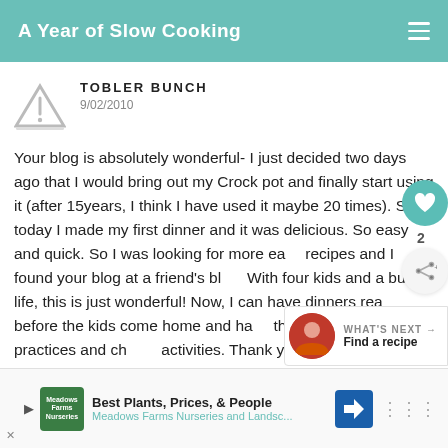A Year of Slow Cooking
TOBLER BUNCH
9/02/2010
Your blog is absolutely wonderful- I just decided two days ago that I would bring out my Crock pot and finally start using it (after 15years, I think I have used it maybe 20 times). So, today I made my first dinner and it was delicious. So easy and quick. So I was looking for more easy recipes and I found your blog at a friend's blog. With four kids and a busy life, this is just wonderful! Now, I can have dinners ready before the kids come home and have them all to soccer practices and church activities. Thank you! I'm sooooo excited to start trying your recipes. YUMMY!
WHAT'S NEXT → Find a recipe
[Figure (other): Advertisement banner: Best Plants, Prices, & People - Meadows Farms Nurseries and Landsc...]